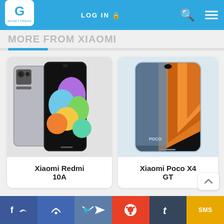Gadget Freaks — LOG IN, Search, Menu
MORE FROM XIAOMI
[Figure (photo): Xiaomi Redmi 10A smartphone product photo showing front and back views]
Xiaomi Redmi 10A
[Figure (photo): Xiaomi Poco X4 GT smartphone product photo showing front and back views]
Xiaomi Poco X4 GT
Social share bar: Facebook, Messenger, Twitter, Reddit, Tumblr, SMS